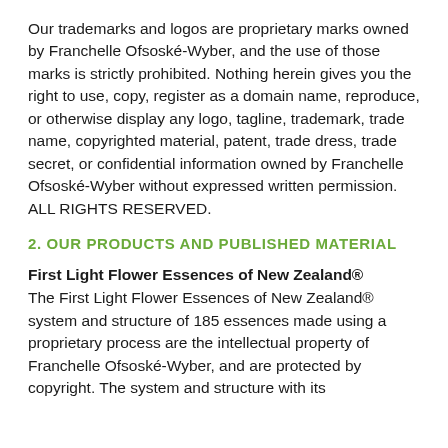Our trademarks and logos are proprietary marks owned by Franchelle Ofsoské-Wyber, and the use of those marks is strictly prohibited. Nothing herein gives you the right to use, copy, register as a domain name, reproduce, or otherwise display any logo, tagline, trademark, trade name, copyrighted material, patent, trade dress, trade secret, or confidential information owned by Franchelle Ofsoské-Wyber without expressed written permission. ALL RIGHTS RESERVED.
2. OUR PRODUCTS AND PUBLISHED MATERIAL
First Light Flower Essences of New Zealand®
The First Light Flower Essences of New Zealand® system and structure of 185 essences made using a proprietary process are the intellectual property of Franchelle Ofsoské-Wyber, and are protected by copyright. The system and structure with its